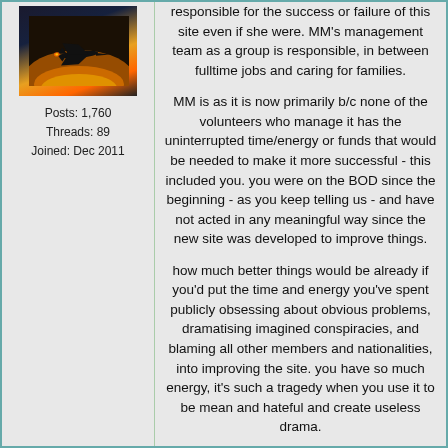[Figure (photo): Avatar image showing a military jet aircraft silhouetted against a sunset sky]
Posts: 1,760
Threads: 89
Joined: Dec 2011
responsible for the success or failure of this site even if she were. MM's management team as a group is responsible, in between fulltime jobs and caring for families.
MM is as it is now primarily b/c none of the volunteers who manage it has the uninterrupted time/energy or funds that would be needed to make it more successful - this included you. you were on the BOD since the beginning - as you keep telling us - and have not acted in any meaningful way since the new site was developed to improve things.
how much better things would be already if you'd put the time and energy you've spent publicly obsessing about obvious problems, dramatising imagined conspiracies, and blaming all other members and nationalities, into improving the site. you have so much energy, it's such a tragedy when you use it to be mean and hateful and create useless drama.
Learn how to manage conflict, because the greater the level you can tolerate, the more freedom you will retain. - F. Walsh